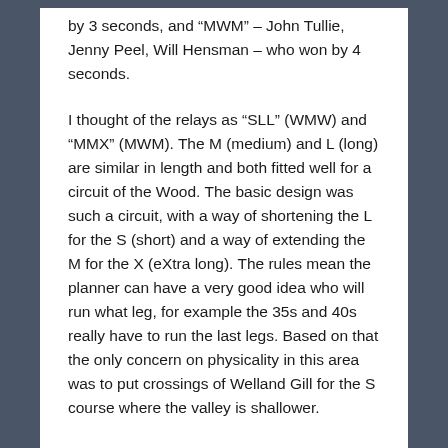by 3 seconds, and "MWM" – John Tullie, Jenny Peel, Will Hensman – who won by 4 seconds.
I thought of the relays as "SLL" (WMW) and "MMX" (MWM). The M (medium) and L (long) are similar in length and both fitted well for a circuit of the Wood. The basic design was such a circuit, with a way of shortening the L for the S (short) and a way of extending the M for the X (eXtra long). The rules mean the planner can have a very good idea who will run what leg, for example the 35s and 40s really have to run the last legs. Based on that the only concern on physicality in this area was to put crossings of Welland Gill for the S course where the valley is shallower.
I went for a clockwise circuit starting into the area known as Mountnoddy Wood for two reasons. Firstly, I wanted all courses to finish with ungaffled legs with the chance for route choice, and this was clearly better coming to the arena from the north. For M and L this was the sequence 208-217-